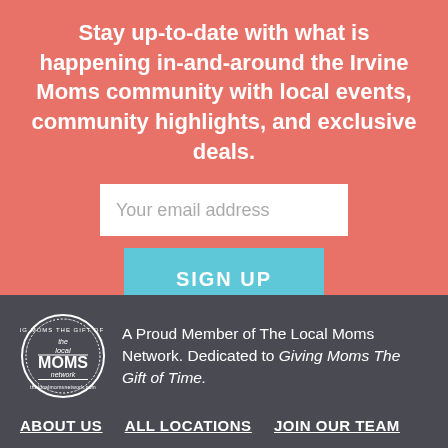Stay up-to-date with what is happening in-and-around the Irvine Moms community with local events, community highlights, and exclusive deals.
[Figure (other): Email signup form with white input field placeholder 'Your email address' and a teal 'SIGN UP' button]
[Figure (logo): The Local Moms Network circular badge logo in white on dark background]
A Proud Member of The Local Moms Network. Dedicated to Giving Moms The Gift of Time.
ABOUT US   ALL LOCATIONS   JOIN OUR TEAM